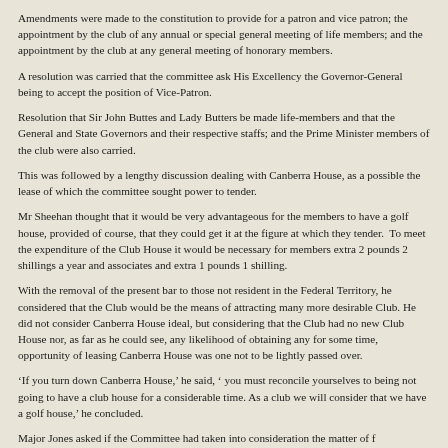Amendments were made to the constitution to provide for a patron and vice patron; the appointment by the club of any annual or special general meeting of life members; and the appointment by the club at any general meeting of honorary members.
A resolution was carried that the committee ask His Excellency the Governor-General being to accept the position of Vice-Patron.
Resolution that Sir John Buttes and Lady Butters be made life-members and that the General and State Governors and their respective staffs; and the Prime Minister members of the club were also carried.
This was followed by a lengthy discussion dealing with Canberra House, as a possible the lease of which the committee sought power to tender.
Mr Sheehan thought that it would be very advantageous for the members to have a golf house, provided of course, that they could get it at the figure at which they tender. To meet the expenditure of the Club House it would be necessary for members extra 2 pounds 2 shillings a year and associates and extra 1 pounds 1 shilling.
With the removal of the present bar to those not resident in the Federal Territory, he considered that the Club would be the means of attracting many more desirable Club. He did not consider Canberra House ideal, but considering that the Club had no new Club House nor, as far as he could see, any likelihood of obtaining any for some time, opportunity of leasing Canberra House was one not to be lightly passed over.
‘If you turn down Canberra House,’ he said, ‘ you must reconcile yourselves to being not going to have a club house for a considerable time. As a club we will consider that we have a golf house,’ he concluded.
Major Jones asked if the Committee had taken into consideration the matter of f